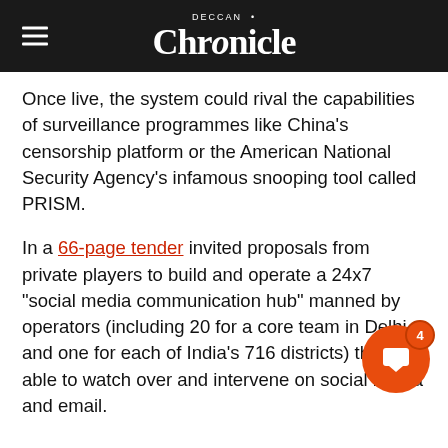Deccan Chronicle
Once live, the system could rival the capabilities of surveillance programmes like China's censorship platform or the American National Security Agency's infamous snooping tool called PRISM.
In a 66-page tender invited proposals from private players to build and operate a 24x7 "social media communication hub" manned by operators (including 20 for a core team in Delhi and one for each of India's 716 districts) that is able to watch over and intervene on social media and email.
The government wants the "analytical tool" to